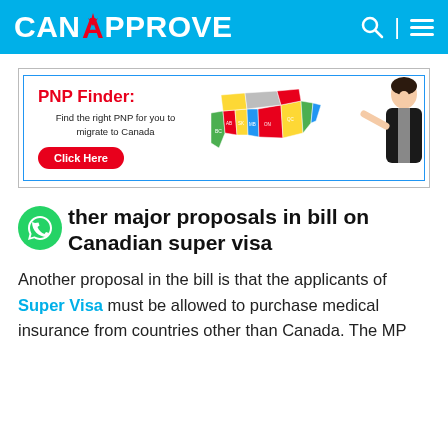CanApprove
[Figure (infographic): PNP Finder banner with colorful map of Canada and a woman pointing. Text: 'PNP Finder: Find the right PNP for you to migrate to Canada' with a red Click Here button.]
Other major proposals in bill on Canadian super visa
Another proposal in the bill is that the applicants of Super Visa must be allowed to purchase medical insurance from countries other than Canada. The MP